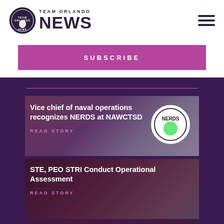[Figure (logo): Team Orlando News logo with circular badge and bold NEWS wordmark in dark purple]
SUBSCRIBE
Vice chief of naval operations recognizes NERDS at NAWCTSD
READ STORY
STE, PEO STRI Conduct Operational Assessment
READ STORY
AFC Releases Army Medical Modernization